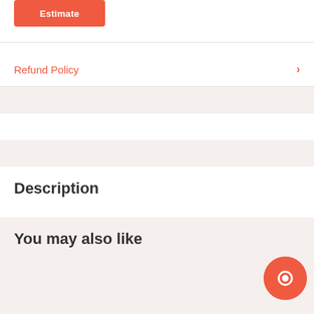Estimate
Refund Policy
Description
You may also like